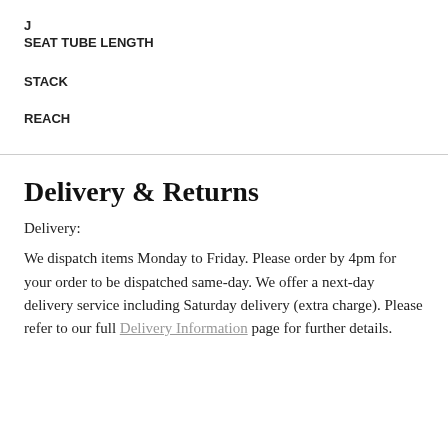J
SEAT TUBE LENGTH
STACK
REACH
Delivery & Returns
Delivery:
We dispatch items Monday to Friday. Please order by 4pm for your order to be dispatched same-day. We offer a next-day delivery service including Saturday delivery (extra charge). Please refer to our full Delivery Information page for further details.